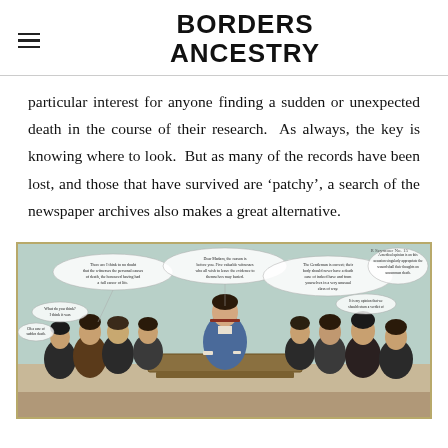BORDERS ANCESTRY
particular interest for anyone finding a sudden or unexpected death in the course of their research. As always, the key is knowing where to look. But as many of the records have been lost, and those that have survived are ‘patchy’, a search of the newspaper archives also makes a great alternative.
[Figure (illustration): A historical color illustration showing a group of men gathered around a table in what appears to be a formal inquiry or coroner's inquest scene, with speech bubbles containing text. Central figure sits at a desk in a blue coat, surrounded by several men on both sides.]